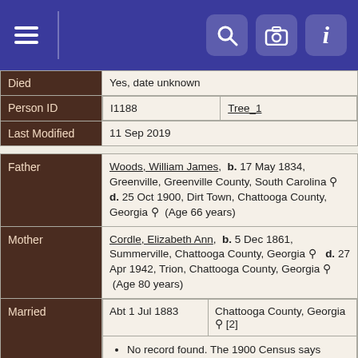[Figure (screenshot): App navigation header bar with hamburger menu on left, and search, camera, info icon buttons on right, blue background]
| Died | Yes, date unknown |
| Person ID | I1188 / Tree_1 |
| Last Modified | 11 Sep 2019 |
| Father | Woods, William James, b. 17 May 1834, Greenville, Greenville County, South Carolina, d. 25 Oct 1900, Dirt Town, Chattooga County, Georgia (Age 66 years) |
| Mother | Cordle, Elizabeth Ann, b. 5 Dec 1861, Summerville, Chattooga County, Georgia, d. 27 Apr 1942, Trion, Chattooga County, Georgia (Age 80 years) |
| Married | Abt 1 Jul 1883 | Chattooga County, Georgia [2] | No record found. The 1900 Census says William & Elizabeth have been married 17 years, so after 8 June 1883 and before 7 June 1884. William and Elizabeth's first child, Nora, was born 16 April 1884. So I estimate their marriage as 1 July 1883 |
| Census | 8 Jun 1900 | Dirt Town, Chattooga County, Georgia [2] | Address: District 940 |